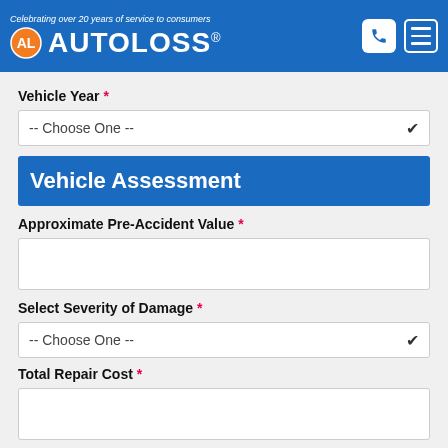Celebrating over 20 years of service to consumers | AUTOLOSS®
Vehicle Year *
-- Choose One --
Vehicle Assessment
Approximate Pre-Accident Value *
Select Severity of Damage *
-- Choose One --
Total Repair Cost *